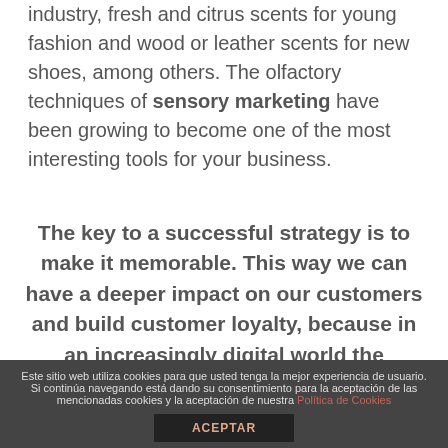industry, fresh and citrus scents for young fashion and wood or leather scents for new shoes, among others. The olfactory techniques of sensory marketing have been growing to become one of the most interesting tools for your business.
The key to a successful strategy is to make it memorable. This way we can have a deeper impact on our customers and build customer loyalty, because in an increasingly digital world the importance of ensuring sensory experiences at the
Este sitio web utiliza cookies para que usted tenga la mejor experiencia de usuario. Si continúa navegando está dando su consentimiento para la aceptación de las mencionadas cookies y la aceptación de nuestra Política de Cookies ACEPTAR